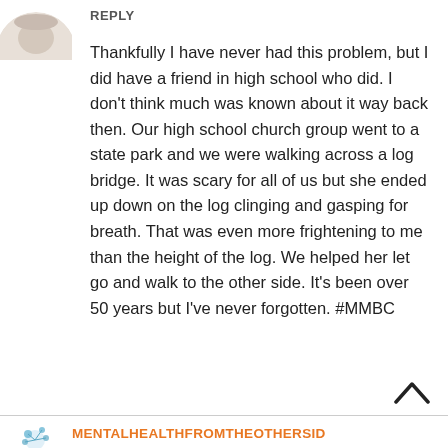[Figure (illustration): Partial circular avatar image showing a person's head/hat, cropped at top-left]
REPLY
Thankfully I have never had this problem, but I did have a friend in high school who did. I don’t think much was known about it way back then. Our high school church group went to a state park and we were walking across a log bridge. It was scary for all of us but she ended up down on the log clinging and gasping for breath. That was even more frightening to me than the height of the log. We helped her let go and walk to the other side. It’s been over 50 years but I’ve never forgotten. #MMBC
[Figure (illustration): Up arrow / caret symbol for scrolling back to top]
[Figure (illustration): Partial logo/avatar for MENTALHEALTHFROMTHEOTHERSID brand at bottom]
MENTALHEALTHFROMTHEOTHERSID